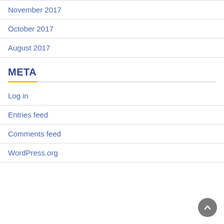November 2017
October 2017
August 2017
META
Log in
Entries feed
Comments feed
WordPress.org